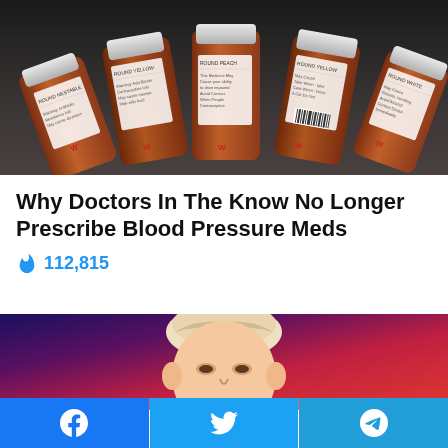[Figure (photo): Multiple amber prescription pill bottles from Walgreens pharmacy arranged in a row on a gray surface, showing warning labels]
Why Doctors In The Know No Longer Prescribe Blood Pressure Meds
🔥 112,815
[Figure (photo): A man's face against a red and blue gradient background]
[Figure (infographic): Social sharing bar with Facebook, Twitter, and Telegram buttons]